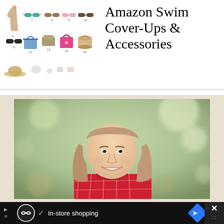[Figure (screenshot): Product grid showing swim cover-ups and accessories items: a tan coverup dress, green sunglasses, brown sunglasses, pink sunglasses, brown sunglasses (row 1); black sunglasses, blue tote bag, olive/tan folded item, pink handbag, tan basket (row 2); tan hat and partial row 3 items. Items numbered 6-25+.]
Amazon Swim Cover-Ups & Accessories
[Figure (photo): Portrait photo of a young woman with medium-length straight blonde/brunette hair, smiling, wearing a red plaid turtleneck sweater, photographed outdoors with blurred green and tan bokeh background.]
[Figure (screenshot): Mobile advertisement banner at bottom: black background with a circular icon (loop/infinity symbol), checkmark, text 'In-store shopping', blue diamond arrow icon, and X close button on dark right panel with dots icon.]